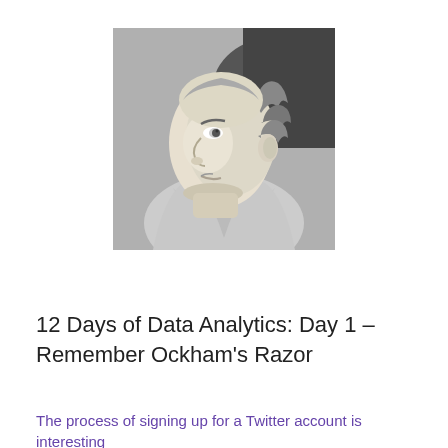[Figure (illustration): Black and white portrait illustration of William of Ockham, a medieval friar shown in profile facing left, wearing monk's robes, with curly hair on the sides of his partially tonsured head.]
12 Days of Data Analytics: Day 1 – Remember Ockham's Razor
The process of signing up for a Twitter account is interesting